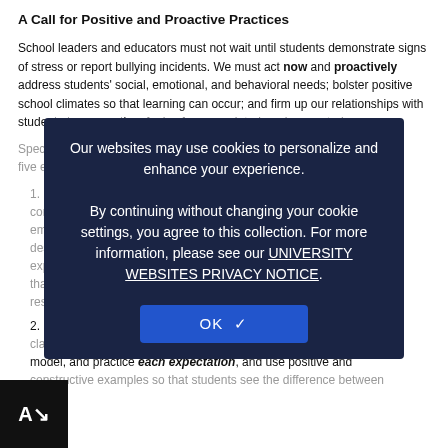A Call for Positive and Proactive Practices
School leaders and educators must not wait until students demonstrate signs of stress or report bullying incidents. We must act now and proactively address students' social, emotional, and behavioral needs; bolster positive school climates so that learning can occur; and firm up our relationships with students to ensure they feel safe, appreciated, and respected.
Specifically, educators are expected to make up and use of five empirically...
1. Establish positively stated expectations that explicitly communicate to students, staff, and families the value and embrace of... Clearly describe and positively state observable expectations in each classroom routine and school setting that contribute to a common language and a predictable, respectful, and safe experience for all
2. Explicitly and publicly post expectations across all classroom routines and settings. Specifically define, model, and practice each expectation, and use positive and constructive examples so that students see the difference between...
[Figure (screenshot): Cookie consent overlay on dark navy background reading: 'Our websites may use cookies to personalize and enhance your experience. By continuing without changing your cookie settings, you agree to this collection. For more information, please see our UNIVERSITY WEBSITES PRIVACY NOTICE.' with an OK checkmark button.]
[Figure (logo): AV logo in bottom-left corner — white text 'A' with down-arrow on black background]